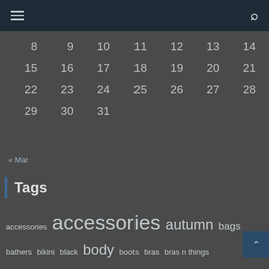Navigation bar with hamburger menu and search icon
| 8 | 9 | 10 | 11 | 12 | 13 | 14 |
| 15 | 16 | 17 | 18 | 19 | 20 | 21 |
| 22 | 23 | 24 | 25 | 26 | 27 | 28 |
| 29 | 30 | 31 |  |  |  |  |
« Mar
Tags
accessories  accessories  autumn  bags  bathers  bikini  black  body  boots  bras  bras n things  clothing  designer profile  dresses  eco-friendly  events  FASHION  fitness  interview  jeans  jewellery  lingerie  LIVING  oh my giddy aunt